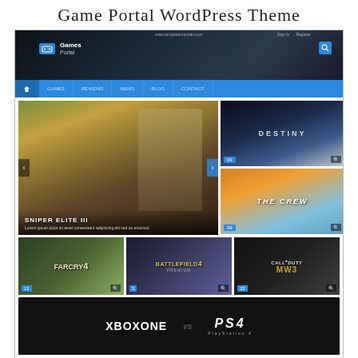Game Portal WordPress Theme
[Figure (screenshot): Screenshot of a Game Portal WordPress theme showing a dark-themed gaming website with navigation bar, featured game slider (Sniper Elite III), right-column thumbnails (Destiny, The Crew), small game thumbnails (Far Cry 4, Battlefield 4, Call of Duty MW3), Xbox One vs PS4 banner, Latest Videos section with four video thumbnails, and partial Latest Reviews / About Us footer sections.]